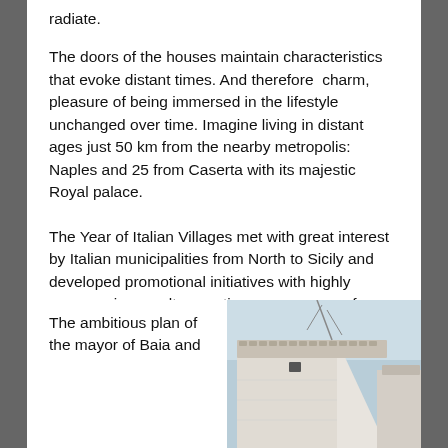radiate.
The doors of the houses maintain characteristics that evoke distant times. And therefore  charm, pleasure of being immersed in the lifestyle unchanged over time. Imagine living in distant ages just 50 km from the nearby metropolis: Naples and 25 from Caserta with its majestic Royal palace.
The Year of Italian Villages met with great interest by Italian municipalities from North to Sicily and developed promotional initiatives with highly encouraging results, creating new sources of tourism that have decreed success: the statistics published at the end of the Borghi year indicate an increase in 7% of national tourism and foreigners in particular from Asian countries – China and Japan.
[Figure (photo): Photograph of a white stone building with a flat/slightly sloped roof, traditional architecture, taken from a low angle against a light sky.]
The ambitious plan of the mayor of Baia and